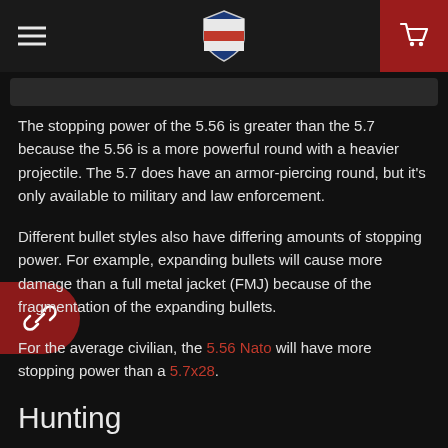[Navigation bar with hamburger menu, shield logo, and cart button]
The stopping power of the 5.56 is greater than the 5.7 because the 5.56 is a more powerful round with a heavier projectile. The 5.7 does have an armor-piercing round, but it's only available to military and law enforcement.
Different bullet styles also have differing amounts of stopping power. For example, expanding bullets will cause more damage than a full metal jacket (FMJ) because of the fragmentation of the expanding bullets.
For the average civilian, the 5.56 Nato will have more stopping power than a 5.7x28.
Hunting
Neither round is suitable for big game hunting. The bullets are not large enough to ethically take down a large animal. The 5.56mm can be used to hunt deer in some states. However, there are much better options to make an ethical shot. Such as the 300 Blackout.